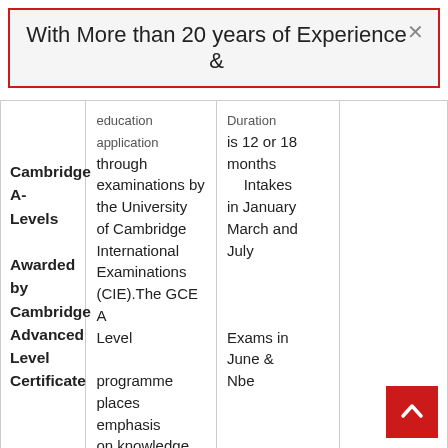With More than 20 years of Experience &
|  | Education / Qualification | Duration |  |
| --- | --- | --- | --- |
|  | application through examinations by the University of Cambridge International Examinations (CIE).The GCE A Level programme places emphasis on knowledge, understanding and reasoning | is 12 or 18 months  Intakes in January March and July  Exams in June & November |  |
| Cambridge A-Levels Awarded by Cambridge Advanced Level Certificate |  |  |  |